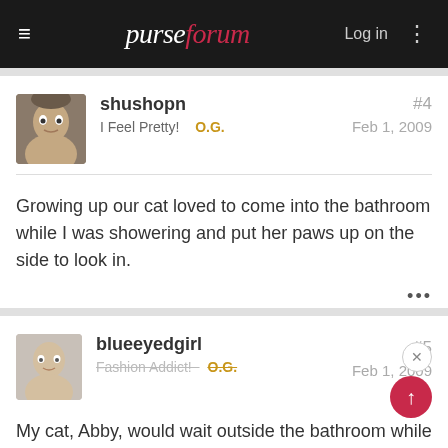purseforum — Log in
shushopn
I Feel Pretty! O.G.
#4
Feb 1, 2009
Growing up our cat loved to come into the bathroom while I was showering and put her paws up on the side to look in.
blueeyedgirl
Fashion Addict! O.G.
#5
Feb 1, 2009
My cat, Abby, would wait outside the bathroom while I was in the shower and as soon as I opened the door, she would bound in and roll around in the damp shower! haha